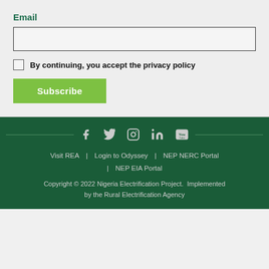Email
By continuing, you accept the privacy policy
Subscribe
Visit REA | Login to Odyssey | NEP NERC Portal | NEP EIA Portal
Copyright © 2022 Nigeria Electrification Project. Implemented by the Rural Electrification Agency